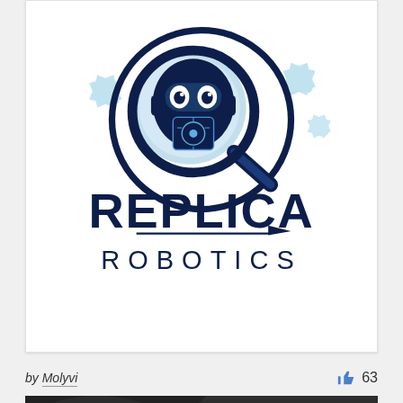[Figure (logo): Replica Robotics logo featuring a cartoon robot with magnifying glass, gear icons, and text 'REPLICA ROBOTICS' in dark navy blue]
by Molyvi
63
[Figure (photo): Dark stone/gravel textured background with partially visible metallic industrial-style letters at the bottom edge]